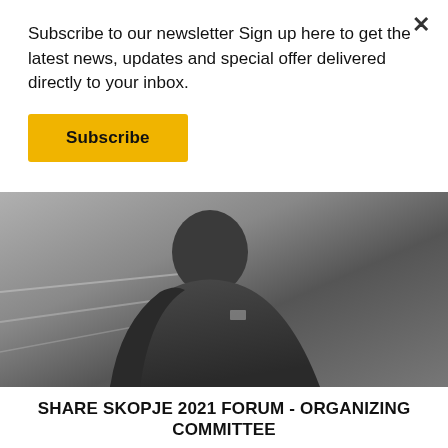Subscribe to our newsletter Sign up here to get the latest news, updates and special offer delivered directly to your inbox.
Subscribe
[Figure (photo): Black and white photo of a person in a dark jacket, blurred background with architectural elements]
DENIS BIŠKUP
Brand Management & New Business Development CEE at Zumtobel Group
SHARE SKOPJE 2021 FORUM - ORGANIZING COMMITTEE